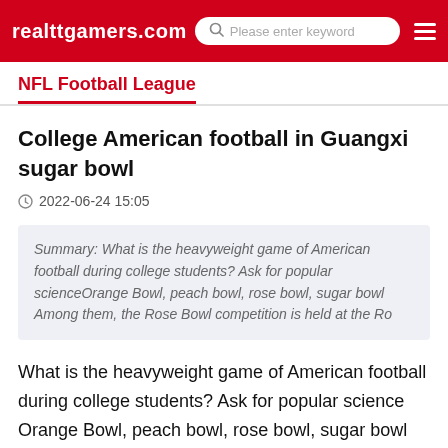realttgamers.com | Please enter keyword
NFL Football League
College American football in Guangxi sugar bowl
2022-06-24 15:05
Summary: What is the heavyweight game of American football during college students? Ask for popular scienceOrange Bowl, peach bowl, rose bowl, sugar bowl Among them, the Rose Bowl competition is held at the Ro
What is the heavyweight game of American football during college students? Ask for popular science
Orange Bowl, peach bowl, rose bowl, sugar bowl Among them, the Rose Bowl competition is held at the Rose Bowl Stadium in Pasadena, California, on January 1 every year